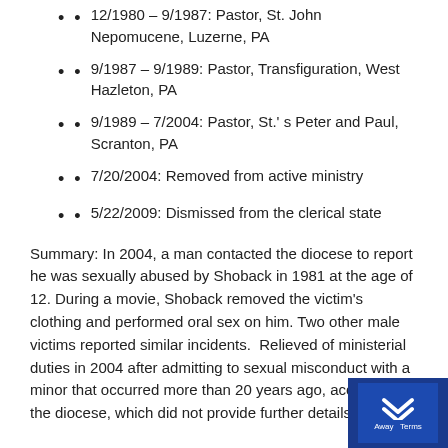12/1980 – 9/1987: Pastor, St. John Nepomucene, Luzerne, PA
9/1987 – 9/1989: Pastor, Transfiguration, West Hazleton, PA
9/1989 – 7/2004: Pastor, St.' s Peter and Paul, Scranton, PA
7/20/2004: Removed from active ministry
5/22/2009: Dismissed from the clerical state
Summary: In 2004, a man contacted the diocese to report he was sexually abused by Shoback in 1981 at the age of 12. During a movie, Shoback removed the victim's clothing and performed oral sex on him. Two other male victims reported similar incidents.  Relieved of ministerial duties in 2004 after admitting to sexual misconduct with a minor that occurred more than 20 years ago, according to the diocese, which did not provide further details.